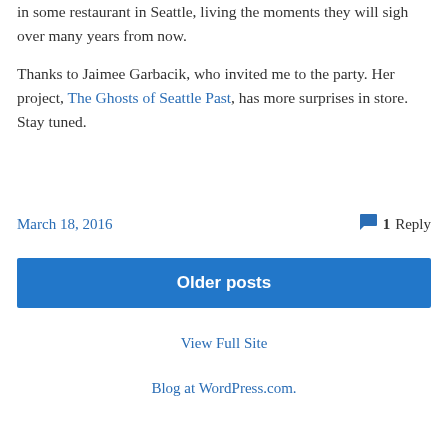in some restaurant in Seattle, living the moments they will sigh over many years from now.
Thanks to Jaimee Garbacik, who invited me to the party. Her project, The Ghosts of Seattle Past, has more surprises in store. Stay tuned.
March 18, 2016    1 Reply
Older posts
View Full Site
Blog at WordPress.com.